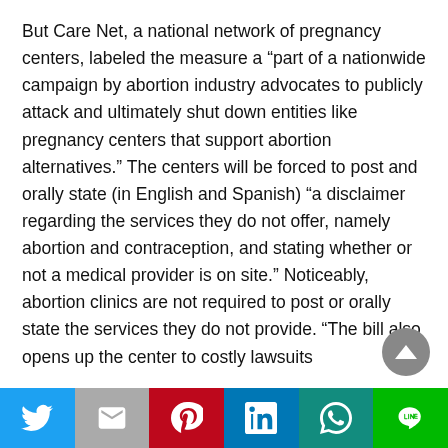But Care Net, a national network of pregnancy centers, labeled the measure a “part of a nationwide campaign by abortion industry advocates to publicly attack and ultimately shut down entities like pregnancy centers that support abortion alternatives.” The centers will be forced to post and orally state (in English and Spanish) “a disclaimer regarding the services they do not offer, namely abortion and contraception, and stating whether or not a medical provider is on site.” Noticeably, abortion clinics are not required to post or orally state the services they do not provide. “The bill also opens up the center to costly lawsuits
Share bar: Twitter, Mail, Pinterest, LinkedIn, WhatsApp, Line